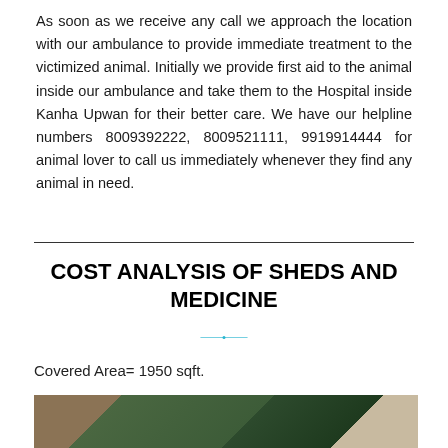As soon as we receive any call we approach the location with our ambulance to provide immediate treatment to the victimized animal. Initially we provide first aid to the animal inside our ambulance and take them to the Hospital inside Kanha Upwan for their better care. We have our helpline numbers 8009392222, 8009521111, 9919914444 for animal lover to call us immediately whenever they find any animal in need.
COST ANALYSIS OF SHEDS AND MEDICINE
Covered Area= 1950 sqft.
[Figure (photo): A photo showing a building or shed area with green trees/vegetation in the background and a stone wall visible on the left side.]